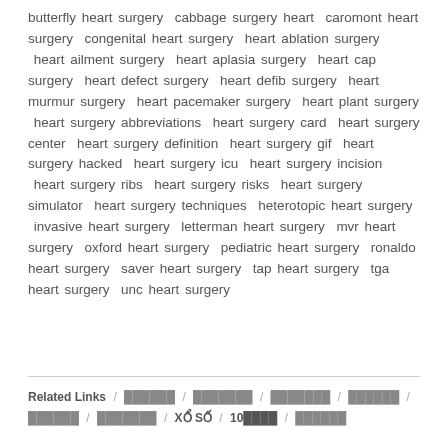butterfly heart surgery  cabbage surgery heart  caromont heart surgery  congenital heart surgery  heart ablation surgery  heart ailment surgery  heart aplasia surgery  heart cap surgery  heart defect surgery  heart defib surgery  heart murmur surgery  heart pacemaker surgery  heart plant surgery  heart surgery abbreviations  heart surgery card  heart surgery center  heart surgery definition  heart surgery gif  heart surgery hacked  heart surgery icu  heart surgery incision  heart surgery ribs  heart surgery risks  heart surgery simulator  heart surgery techniques  heterotopic heart surgery  invasive heart surgery  letterman heart surgery  mvr heart surgery  oxford heart surgery  pediatric heart surgery  ronaldo heart surgery  saver heart surgery  tap heart surgery  tga heart surgery  unc heart surgery
Related Links / ██████ / ███████ / ███████ / ██████ / ██████ / ███████ / XỔ SỐ / 10████ / ██████